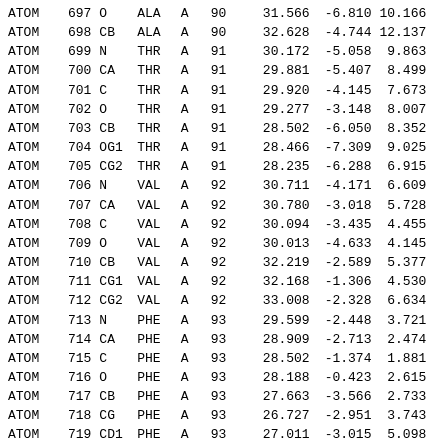| Record | Serial | Name | Res | Chain | Seq |  | X | Y | Z |  |
| --- | --- | --- | --- | --- | --- | --- | --- | --- | --- | --- |
| ATOM | 697 | O | ALA | A | 90 |  | 31.566 | -6.810 | 10.166 |  |
| ATOM | 698 | CB | ALA | A | 90 |  | 32.628 | -4.744 | 12.137 |  |
| ATOM | 699 | N | THR | A | 91 |  | 30.172 | -5.058 | 9.863 |  |
| ATOM | 700 | CA | THR | A | 91 |  | 29.881 | -5.407 | 8.499 |  |
| ATOM | 701 | C | THR | A | 91 |  | 29.920 | -4.145 | 7.673 |  |
| ATOM | 702 | O | THR | A | 91 |  | 29.277 | -3.148 | 8.007 |  |
| ATOM | 703 | CB | THR | A | 91 |  | 28.502 | -6.050 | 8.352 |  |
| ATOM | 704 | OG1 | THR | A | 91 |  | 28.466 | -7.309 | 9.025 |  |
| ATOM | 705 | CG2 | THR | A | 91 |  | 28.235 | -6.288 | 6.915 |  |
| ATOM | 706 | N | VAL | A | 92 |  | 30.711 | -4.171 | 6.609 |  |
| ATOM | 707 | CA | VAL | A | 92 |  | 30.780 | -3.018 | 5.728 |  |
| ATOM | 708 | C | VAL | A | 92 |  | 30.094 | -3.435 | 4.455 |  |
| ATOM | 709 | O | VAL | A | 92 |  | 30.013 | -4.633 | 4.145 |  |
| ATOM | 710 | CB | VAL | A | 92 |  | 32.219 | -2.589 | 5.377 |  |
| ATOM | 711 | CG1 | VAL | A | 92 |  | 32.168 | -1.306 | 4.530 |  |
| ATOM | 712 | CG2 | VAL | A | 92 |  | 33.008 | -2.328 | 6.634 |  |
| ATOM | 713 | N | PHE | A | 93 |  | 29.599 | -2.448 | 3.721 |  |
| ATOM | 714 | CA | PHE | A | 93 |  | 28.909 | -2.713 | 2.474 |  |
| ATOM | 715 | C | PHE | A | 93 |  | 28.502 | -1.374 | 1.881 |  |
| ATOM | 716 | O | PHE | A | 93 |  | 28.188 | -0.423 | 2.615 |  |
| ATOM | 717 | CB | PHE | A | 93 |  | 27.663 | -3.566 | 2.733 |  |
| ATOM | 718 | CG | PHE | A | 93 |  | 26.727 | -2.951 | 3.743 |  |
| ATOM | 719 | CD1 | PHE | A | 93 |  | 27.011 | -3.015 | 5.098 |  |
| ATOM | 720 | CD2 | PHE | A | 93 |  | 25.618 | -2.226 | 3.333 |  |
| ATOM | 721 | CE1 | PHE | A | 93 |  | 26.210 | -2.362 | 6.022 |  |
| ATOM | 722 | CE2 | PHE | A | 93 |  | 24.820 | -1.576 | 4.251 |  |
| ATOM | 723 | CZ | PHE | A | 93 |  | 25.117 | -1.643 | 5.595 |  |
| ATOM | 724 | N | PRO | A | 94 |  | 28.524 | -1.278 | 0.540 |  |
| ATOM | 725 | CA | PRO | A | 94 |  | 28.155 | -0.056 | -0.178 |  |
| ATOM | 726 | C | PRO | A | 94 |  | 26.649 | 0.188 | -0.221 |  |